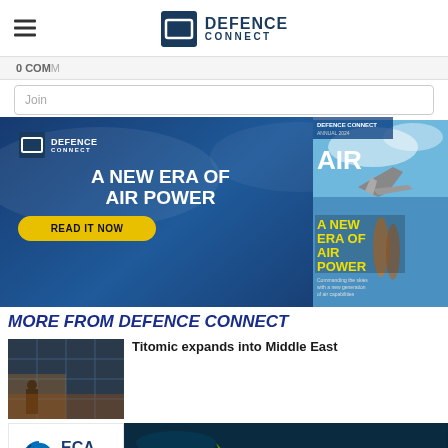DEFENCE CONNECT
0 COMM
[Figure (infographic): Defence Connect advertisement banner: A NEW ERA OF AIR POWER - READ IT NOW button, with magazine cover showing jet aircraft]
MORE FROM DEFENCE CONNECT
Join
[Figure (photo): Thumbnail photo of silhouette figure against window/building]
Titomic expands into Middle East
[Figure (logo): ECA Group - make sure logo]
[Figure (photo): Yellow underwater torpedo/drone on dark background]